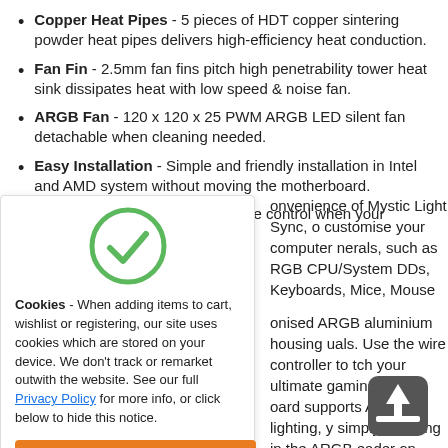Copper Heat Pipes - 5 pieces of HDT copper sintering powder heat pipes delivers high-efficiency heat conduction.
Fan Fin - 2.5mm fan fins pitch high penetrability tower heat sink dissipates heat with low speed & noise fan.
ARGB Fan - 120 x 120 x 25 PWM ARGB LED silent fan detachable when cleaning needed.
Easy Installation - Simple and friendly installation in Intel and AMD system without moving the motherboard.
ARGB Software - ARGB software control when your motherboard
[Figure (illustration): Green circle with white checkmark icon indicating cookie consent accepted]
Cookies - When adding items to cart, wishlist or registering, our site uses cookies which are stored on your device. We don't track or remarket outwith the website. See our full Privacy Policy for more info, or click below to hide this notice.
That's fine. Hide this message.
onvenience of Mystic Light Sync, o customise your computer nerals, such as RGB CPU/System DDs, Keyboards, Mice, Mouse
onised ARGB aluminium housing uals. Use the wire controller to tch your ultimate gaming build. oard supports ARGB lighting, y simply plugging in the ARGB eader on your motherboard.